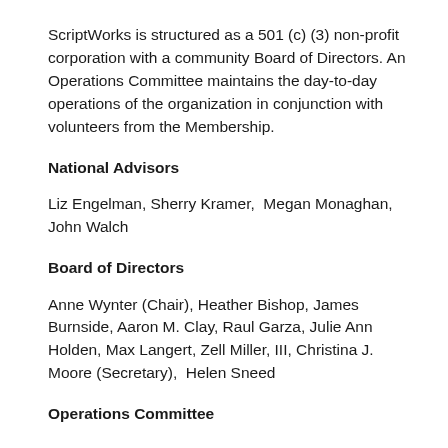ScriptWorks is structured as a 501 (c) (3) non-profit corporation with a community Board of Directors. An Operations Committee maintains the day-to-day operations of the organization in conjunction with volunteers from the Membership.
National Advisors
Liz Engelman, Sherry Kramer,  Megan Monaghan, John Walch
Board of Directors
Anne Wynter (Chair), Heather Bishop, James Burnside, Aaron M. Clay, Raul Garza, Julie Ann Holden, Max Langert, Zell Miller, III, Christina J. Moore (Secretary),  Helen Sneed
Operations Committee